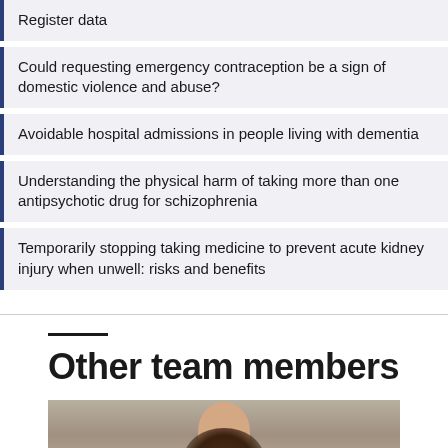Register data
Could requesting emergency contraception be a sign of domestic violence and abuse?
Avoidable hospital admissions in people living with dementia
Understanding the physical harm of taking more than one antipsychotic drug for schizophrenia
Temporarily stopping taking medicine to prevent acute kidney injury when unwell: risks and benefits
Other team members
[Figure (photo): Portrait photo of a team member, partially visible, showing top of head with brown hair against a neutral background]